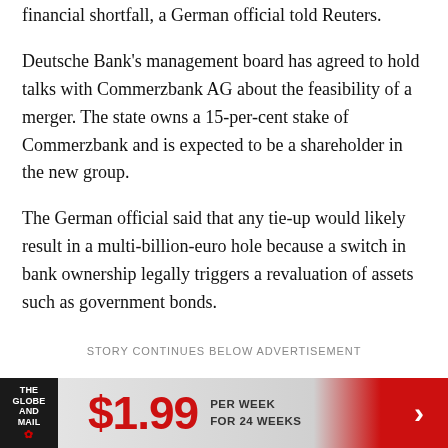financial shortfall, a German official told Reuters.
Deutsche Bank's management board has agreed to hold talks with Commerzbank AG about the feasibility of a merger. The state owns a 15-per-cent stake of Commerzbank and is expected to be a shareholder in the new group.
The German official said that any tie-up would likely result in a multi-billion-euro hole because a switch in bank ownership legally triggers a revaluation of assets such as government bonds.
STORY CONTINUES BELOW ADVERTISEMENT
[Figure (other): The Globe and Mail subscription advertisement banner showing $1.99 per week for 24 weeks with logo and arrow]